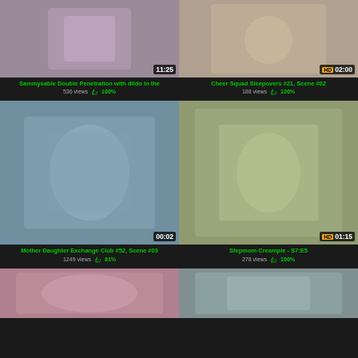[Figure (screenshot): Video thumbnail row 1 left - duration 11:25]
Sammysable Double Penetration with dildo in the
536 views 👍 100%
[Figure (screenshot): Video thumbnail row 1 right - HD 02:00]
Cheer Squad Sleepovers #21, Scene #02
188 views 👍 100%
[Figure (screenshot): Video thumbnail row 2 left - duration 00:02]
Mother Daughter Exchange Club #52, Scene #03
1249 views 👍 81%
[Figure (screenshot): Video thumbnail row 2 right - HD 01:15]
Stepmom Creampie - S7:E5
278 views 👍 100%
[Figure (screenshot): Video thumbnail row 3 left - partial]
[Figure (screenshot): Video thumbnail row 3 right - partial]